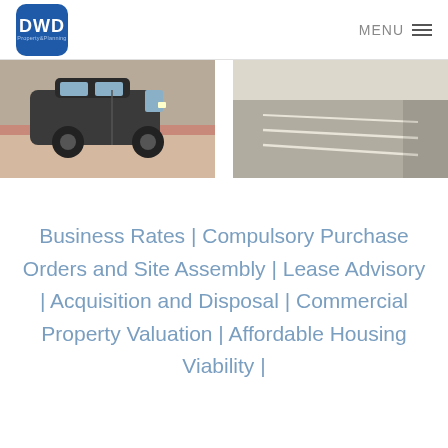DWD Property Planning | MENU
[Figure (photo): Two side-by-side photos: left shows a black London taxi cab on a red-paved street, right shows an empty road/highway surface]
Business Rates | Compulsory Purchase Orders and Site Assembly | Lease Advisory | Acquisition and Disposal | Commercial Property Valuation | Affordable Housing Viability |